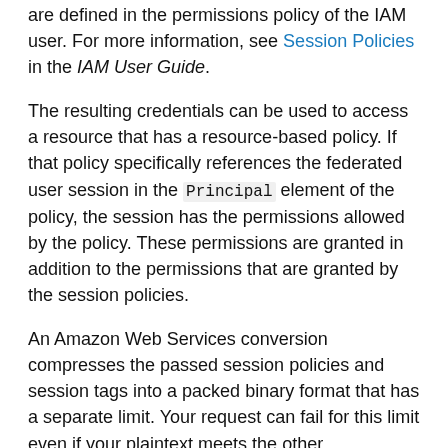are defined in the permissions policy of the IAM user. For more information, see Session Policies in the IAM User Guide.
The resulting credentials can be used to access a resource that has a resource-based policy. If that policy specifically references the federated user session in the Principal element of the policy, the session has the permissions allowed by the policy. These permissions are granted in addition to the permissions that are granted by the session policies.
An Amazon Web Services conversion compresses the passed session policies and session tags into a packed binary format that has a separate limit. Your request can fail for this limit even if your plaintext meets the other requirements. The PackedPolicySize response element indicates by percentage how close the policies and tags for your request are to the upper size limit.